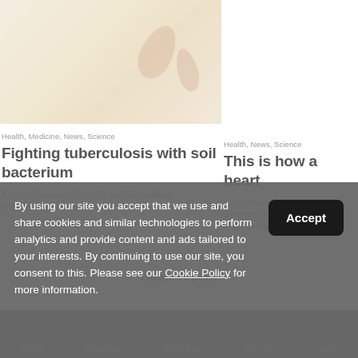[Figure (photo): Cream/beige colored textured background with faint leaf or botanical shapes, serving as article card thumbnail image for Fighting tuberculosis with soil bacterium article]
Health, Medicine, News, Science
Fighting tuberculosis with soil bacterium
A natural compound found in soil kills antibiotic-resistant Mycobacterium tuberculosis.
Health, News, Science
This is how a heart
A "synchronised dance" generates a healthy b... in congenital heart de...
Load more posts
News  Features  Bull's-Eye  Ask Us  Video
By using our site you accept that we use and share cookies and similar technologies to perform analytics and provide content and ads tailored to your interests. By continuing to use our site, you consent to this. Please see our Cookie Policy for more information.